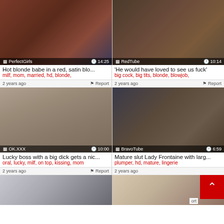[Figure (screenshot): Video thumbnail grid showing adult video website with 6 video cards in 2-column layout. Each card has a thumbnail image, source label, duration, title, and tags.]
PerfectGirls  14:25
Hot blonde babe in a red, satin blo...
milf, mom, married, hd, blonde,
RedTube  10:14
'He would have loved to see us fuck'
big cock, big tits, blonde, blowjob,
2 years ago  Report
OK.XXX  10:00
Lucky boss with a big dick gets a nic...
oral, lucky, milf, on top, kissing, mom
2 years ago  Report
BravoTube  6:59
Mature slut Lady Frontaine with larg...
plumper, hd, mature, lingerie
2 years ago  Report
2 years ago  Report